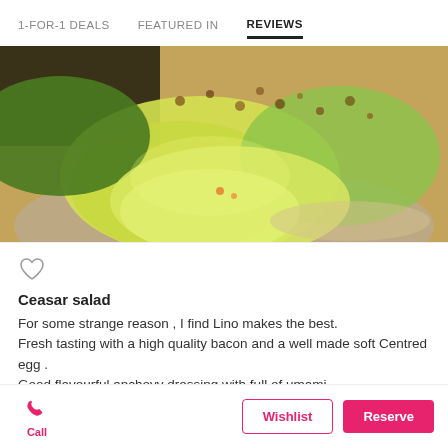1-FOR-1 DEALS   FEATURED IN   REVIEWS
[Figure (photo): Close-up photo of a Caesar salad with lettuce leaves and toppings on a plate]
♡
Ceasar salad
For some strange reason , I find Lino makes the best.
Fresh tasting with a high quality bacon and a well made soft Centred egg .
Good flavourful anchovy dressing with full of umami .